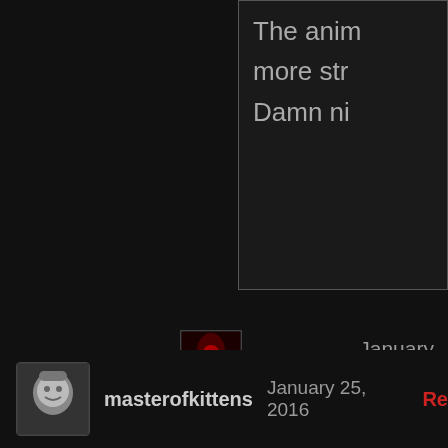The anim more str Damn ni
Kazzeon   January 26,
Thanks for making it! 😊
Yeah! Elfen Lied is one of
Glad to see that great se
masterofkittens   January 25, 2016   Re